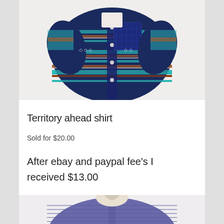[Figure (photo): A colorful striped short-sleeve button-up shirt (Territory Ahead) with southwestern/aztec pattern in navy, teal, orange, and brown, displayed on a white background. The shirt has a chest pocket with a darker blue plaid pattern.]
Territory ahead shirt
Sold for $20.00
After ebay and paypal fee's I received $13.00
[Figure (photo): Bottom portion of a second shirt listing — a purple/blue button-down shirt, partially visible, displayed on a white background.]